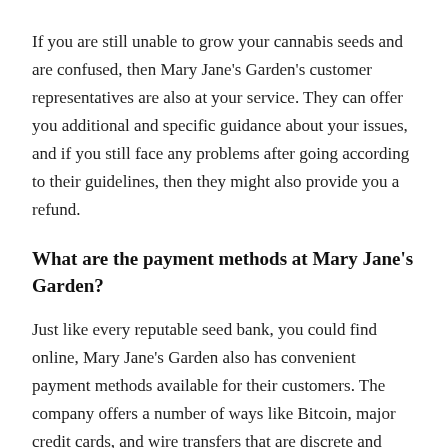If you are still unable to grow your cannabis seeds and are confused, then Mary Jane's Garden's customer representatives are also at your service. They can offer you additional and specific guidance about your issues, and if you still face any problems after going according to their guidelines, then they might also provide you a refund.
What are the payment methods at Mary Jane's Garden?
Just like every reputable seed bank, you could find online, Mary Jane's Garden also has convenient payment methods available for their customers. The company offers a number of ways like Bitcoin, major credit cards, and wire transfers that are discrete and secure so that the buyers aren't met with any sort of security concern or any other hassle.